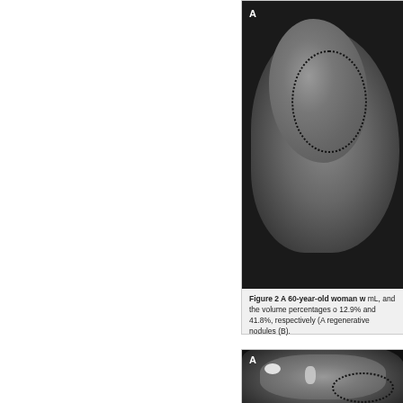[Figure (photo): CT scan image of liver with dotted ellipse indicating a region of interest, partially cropped, showing upper portion of abdomen]
Figure 2 A 60-year-old woman w... mL, and the volume percentages o... 12.9% and 41.8%, respectively (A... regenerative nodules (B).
[Figure (photo): CT scan image labeled A showing liver with dotted ellipse marking a region, with bright spots indicating vessels, partially cropped at bottom]